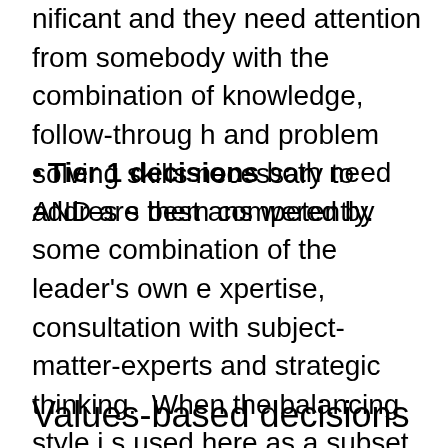nificant and they need attention from somebody with the combination of knowledge, follow-through and problem solving skills necessary to address them competently.
Tier 1 decisions both need AND are best answered by some combination of the leader's own expertise, consultation with subject-matter-experts and strategic thinking.  When the balancing style is used here as a subset, the pros and cons are scored according to how well they advance or detract from the current mission and values of the person or organization that the decision will ultimately impact.
Values-based decisions